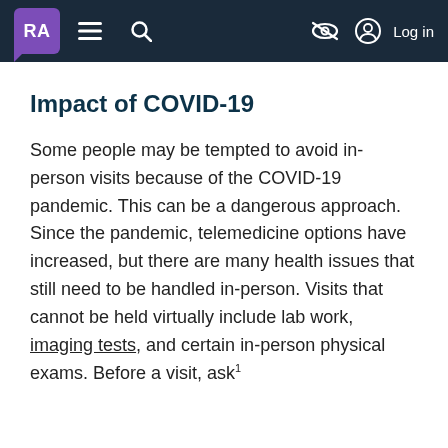RA [logo] — navigation header with hamburger menu, search, eye-slash icon, and Log in
Impact of COVID-19
Some people may be tempted to avoid in-person visits because of the COVID-19 pandemic. This can be a dangerous approach. Since the pandemic, telemedicine options have increased, but there are many health issues that still need to be handled in-person. Visits that cannot be held virtually include lab work, imaging tests, and certain in-person physical exams. Before a visit, ask